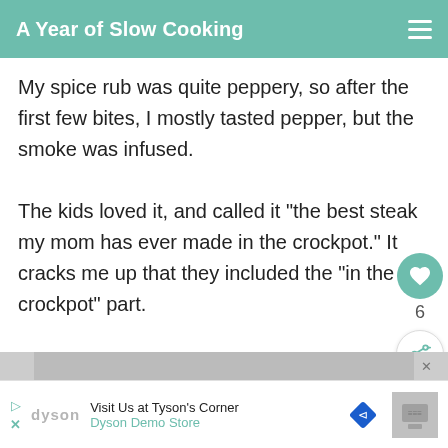A Year of Slow Cooking
My spice rub was quite peppery, so after the first few bites, I mostly tasted pepper, but the smoke was infused.
The kids loved it, and called it "the best steak my mom has ever made in the crockpot." It cracks me up that they included the "in the crockpot" part.
I have POUNDS of mesquite chips le[ft, and am interested in smoking some salmon.
[Figure (other): What's Next widget showing CrockPot Gingerbread... with thumbnail image]
[Figure (other): Advertisement banner: Visit Us at Tyson's Corner - Dyson Demo Store with diamond navigation icon]